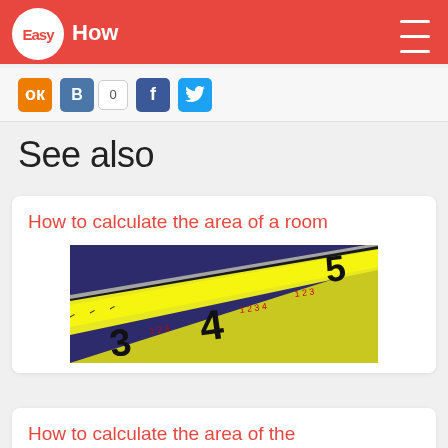EasyHow
[Figure (screenshot): Social sharing icons bar: Odnoklassniki (orange), VKontakte (blue, B), counter showing 0, Facebook (blue, f), Twitter (blue bird)]
See also
How to calculate the area of a room
[Figure (photo): Close-up photo of a yellow measuring tape showing markings at 3, 4, 5 inches on a purple/blue background]
How to calculate the area of the apartment